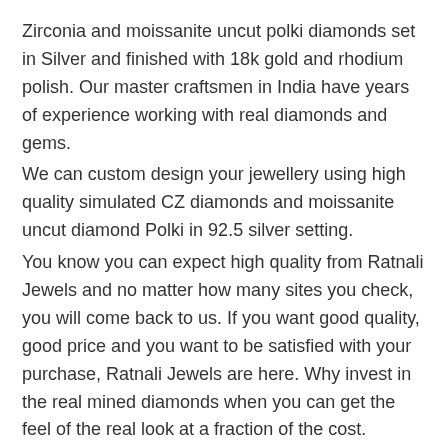Zirconia and moissanite uncut polki diamonds set in Silver and finished with 18k gold and rhodium polish. Our master craftsmen in India have years of experience working with real diamonds and gems.
We can custom design your jewellery using high quality simulated CZ diamonds and moissanite uncut diamond Polki in 92.5 silver setting.
You know you can expect high quality from Ratnali Jewels and no matter how many sites you check, you will come back to us. If you want good quality, good price and you want to be satisfied with your purchase, Ratnali Jewels are here. Why invest in the real mined diamonds when you can get the feel of the real look at a fraction of the cost.
Returns policy
------------------------------------------------
Custom made orders cannot be refunded. Our stringent